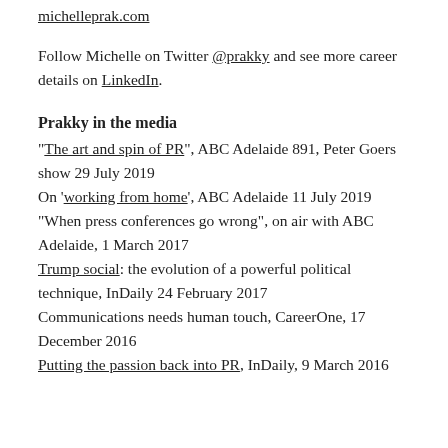michelleprak.com
Follow Michelle on Twitter @prakky and see more career details on LinkedIn.
Prakky in the media
"The art and spin of PR", ABC Adelaide 891, Peter Goers show 29 July 2019
On 'working from home', ABC Adelaide 11 July 2019
"When press conferences go wrong", on air with ABC Adelaide, 1 March 2017
Trump social: the evolution of a powerful political technique, InDaily 24 February 2017
Communications needs human touch, CareerOne, 17 December 2016
Putting the passion back into PR, InDaily, 9 March 2016